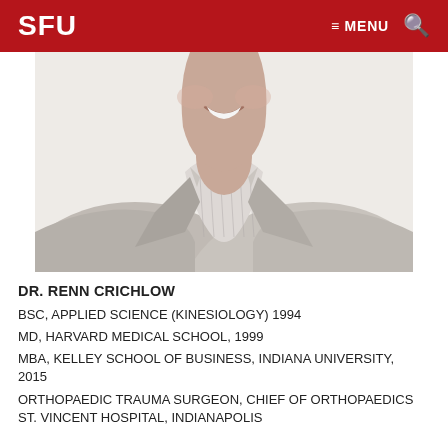SFU MENU 🔍
[Figure (photo): Headshot photo of Dr. Renn Crichlow, a man in a grey blazer and striped shirt, smiling, photographed from the chest up against a white background]
DR. RENN CRICHLOW
BSC, APPLIED SCIENCE (KINESIOLOGY) 1994
MD, HARVARD MEDICAL SCHOOL, 1999
MBA, KELLEY SCHOOL OF BUSINESS, INDIANA UNIVERSITY, 2015
ORTHOPAEDIC TRAUMA SURGEON, CHIEF OF ORTHOPAEDICS ST. VINCENT HOSPITAL, INDIANAPOLIS